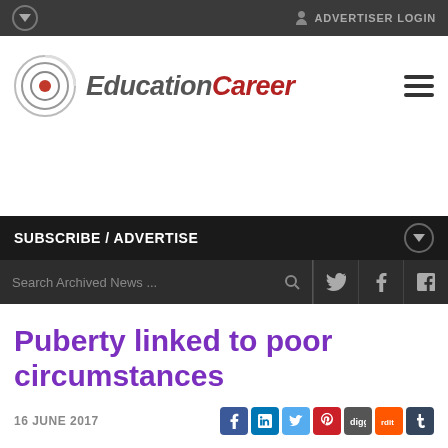ADVERTISER LOGIN
[Figure (logo): EducationCareer logo with circular target icon]
SUBSCRIBE / ADVERTISE
Search Archived News ...
Puberty linked to poor circumstances
16 JUNE 2017